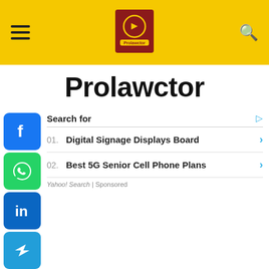Prolawctor header with hamburger menu and search icon
Prolawctor
[Figure (screenshot): Social media share buttons: Facebook, WhatsApp, LinkedIn, Telegram, Share]
Search for
01. Digital Signage Displays Board
02. Best 5G Senior Cell Phone Plans
Yahoo! Search | Sponsored
We use cookies to ensure that we give you the best experience on
Search for
Business Intelligence Analytics
Mobile Phone Service Provider
Yahoo! Search | Sponsored